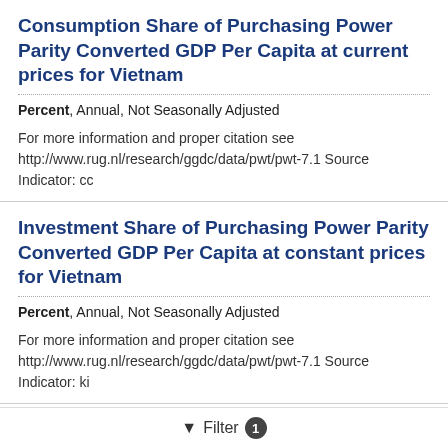Consumption Share of Purchasing Power Parity Converted GDP Per Capita at current prices for Vietnam
Percent, Annual, Not Seasonally Adjusted
For more information and proper citation see http://www.rug.nl/research/ggdc/data/pwt/pwt-7.1 Source Indicator: cc
Investment Share of Purchasing Power Parity Converted GDP Per Capita at constant prices for Vietnam
Percent, Annual, Not Seasonally Adjusted
For more information and proper citation see http://www.rug.nl/research/ggdc/data/pwt/pwt-7.1 Source Indicator: ki
Government Consumption Share of Purchasing Power Parity Converted GDP Per Capita at constant prices for Vietnam
Filter 1